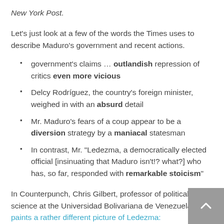New York Post.
Let's just look at a few of the words the Times uses to describe Maduro's government and recent actions.
government's claims … outlandish repression of critics even more vicious
Delcy Rodríguez, the country's foreign minister, weighed in with an absurd detail
Mr. Maduro's fears of a coup appear to be a diversion strategy by a maniacal statesman
In contrast, Mr. "Ledezma, a democratically elected official [insinuating that Maduro isn't!? what?] who has, so far, responded with remarkable stoicism"
In Counterpunch, Chris Gilbert, professor of political science at the Universidad Bolivariana de Venezuela, paints a rather different picture of Ledezma: